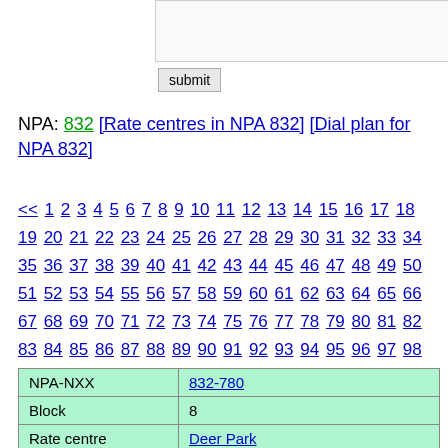NPA: 832 [Rate centres in NPA 832] [Dial plan for NPA 832]
<< 1 2 3 4 5 6 7 8 9 10 11 12 13 14 15 16 17 18 19 20 21 22 23 24 25 26 27 28 29 30 31 32 33 34 35 36 37 38 39 40 41 42 43 44 45 46 47 48 49 50 51 52 53 54 55 56 57 58 59 60 61 62 63 64 65 66 67 68 69 70 71 72 73 74 75 76 77 78 79 80 81 82 83 84 85 86 87 88 89 90 91 92 93 94 95 96 97 98 99 100 101 102 103 104 105 106 107 108 109 110 111 112 113 114 115 116 117 118 119 120 121 122 123 124 125 126 127 128 129 130 131 132 133 134 135 136 137 138 139 140 141 142 143 >>
| NPA-NXX | Block | Rate centre | Region |
| --- | --- | --- | --- |
| 832-780 | 8 | Deer Park | TX |